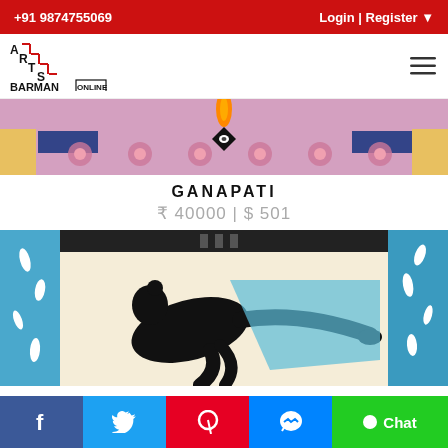+91 9874755069   Login | Register
[Figure (logo): Arts Barman Online logo with staircase design in red and black]
[Figure (photo): Top portion of Ganapati artwork showing decorative pattern with pink flowers on purple background]
GANAPATI
₹ 40000 | $ 501
[Figure (photo): Bottom portion of Ganapati artwork showing black silhouette figure reclining on blue and white background]
Facebook | Twitter | Pinterest | Messenger | Chat